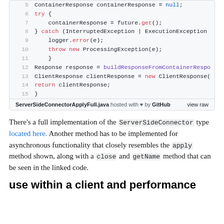[Figure (screenshot): Code snippet showing Java code lines 5-15 from ServerSideConnectorApplyFull.java with syntax highlighting, hosted on GitHub]
There's a full implementation of the ServerSideConnector type located here. Another method has to be implemented for asynchronous functionality that closely resembles the apply method shown, along with a close and getName method that can be seen in the linked code.
use within a client and performance